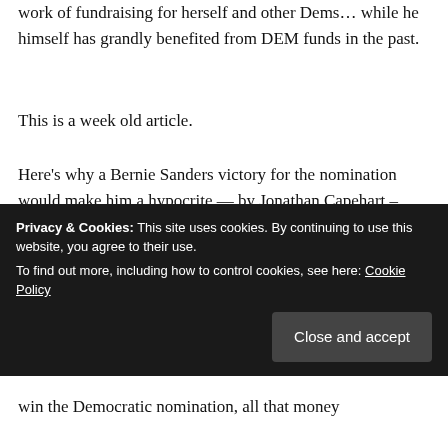work of fundraising for herself and other Dems… while he himself has grandly benefited from DEM funds in the past.
This is a week old article.
Here's why a Bernie Sanders victory for the nomination would make him a hypocrite — by Jonathan Capehart – March 31, 2016 https://www.washingtonpost.com/blogs/post-partisan/wp/2016/03/31/heres-why-a-bernie-sanders-victory-for-the-nomination-would-make-him-a-hypocrite/
Privacy & Cookies: This site uses cookies. By continuing to use this website, you agree to their use. To find out more, including how to control cookies, see here: Cookie Policy
win the Democratic nomination, all that money